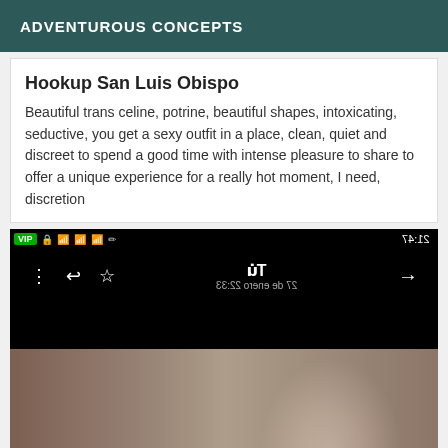ADVENTUROUS CONCEPTS
Hookup San Luis Obispo
Beautiful trans celine, potrine, beautiful shapes, intoxicating, seductive, you get a sexy outfit in a place, clean, quiet and discreet to spend a good time with intense pleasure to share to offer a unique experience for a really hot moment, I need, discretion
[Figure (screenshot): Screenshot of a mobile phone browser showing a mirrored/flipped navigation bar with VIP badge, status bar icons, time 21:47, and navigation controls with mirrored text '27 de enero 22:' and 'Tu']